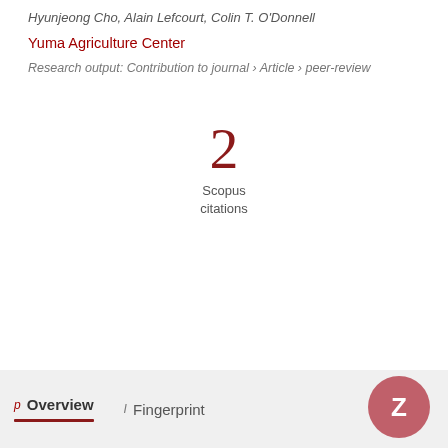Hyunjeong Cho, Alain Lefcourt, Colin T. O'Donnell
Yuma Agriculture Center
Research output: Contribution to journal › Article › peer-review
2
Scopus
citations
Overview
Fingerprint